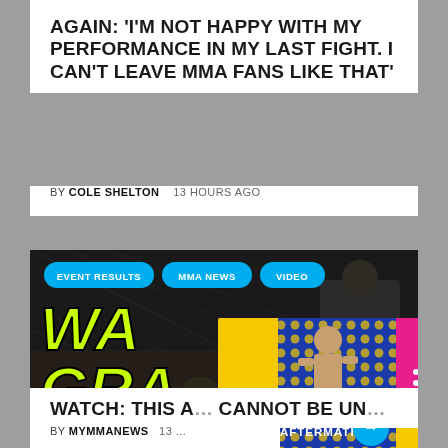AGAIN: 'I'M NOT HAPPY WITH MY PERFORMANCE IN MY LAST FIGHT. I CAN'T LEAVE MMA FANS LIKE THAT'
BY COLE SHELTON   13 HOURS AGO
[Figure (screenshot): MMA event scene with WARNING: GRAPHIC text overlay in yellow-green, and an overlaid Karate Combat 35 Aftermath promotional card with a fighter celebrating, arrow button, dots menu]
WATCH: THIS A... CANNOT BE UN...
BY MYMMANEWS   13 ...